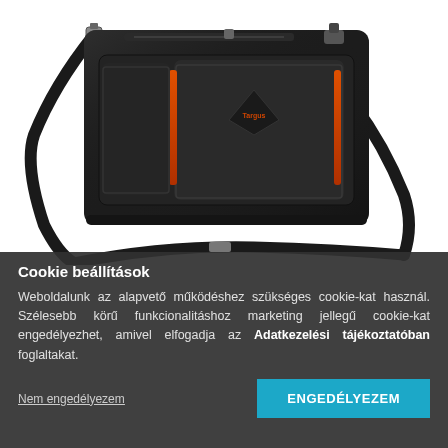[Figure (photo): A black Targus laptop messenger bag with orange accents and a shoulder strap, shown against a white background.]
Cookie beállítások
Weboldalunk az alapvető működéshez szükséges cookie-kat használ. Szélesebb körű funkcionalitáshoz marketing jellegű cookie-kat engedélyezhet, amivel elfogadja az Adatkezelési tájékoztatóban foglaltakat.
Nem engedélyezem
ENGEDÉLYEZEM